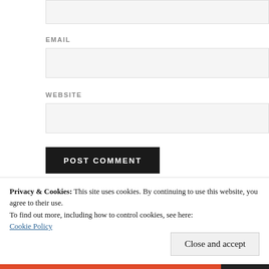[Figure (screenshot): Top portion of a web form input box (partially visible at top of page)]
EMAIL
[Figure (screenshot): Email input field, light gray background]
WEBSITE
[Figure (screenshot): Website input field, light gray background]
[Figure (screenshot): POST COMMENT button, black background with white uppercase text]
Privacy & Cookies: This site uses cookies. By continuing to use this website, you agree to their use.
To find out more, including how to control cookies, see here:
Cookie Policy
Close and accept